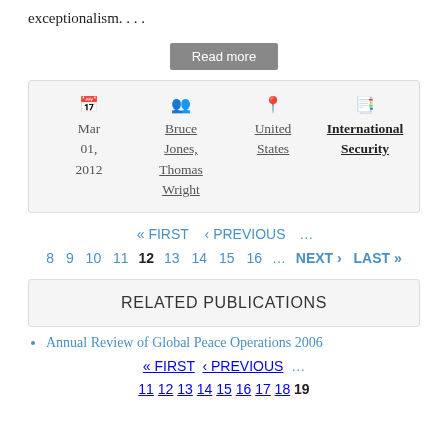exceptionalism. . . .
Read more
| Date | Authors | Region | Publication |
| --- | --- | --- | --- |
| Mar 01, 2012 | Bruce Jones, Thomas Wright | United States | International Security |
« FIRST  ‹ PREVIOUS  …
8  9  10  11  12  13  14  15  16  …  NEXT ›  LAST »
RELATED PUBLICATIONS
Annual Review of Global Peace Operations 2006
« FIRST  ‹ PREVIOUS  …
11  12  13  14  15  16  17  18  19